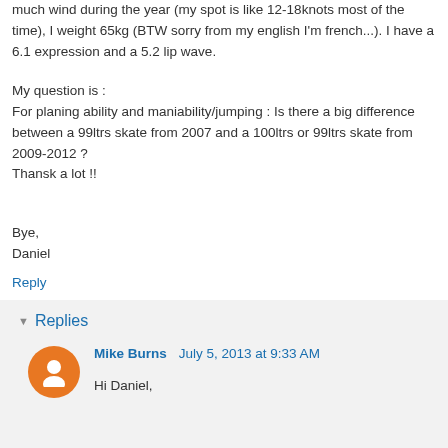much wind during the year (my spot is like 12-18knots most of the time), I weight 65kg (BTW sorry from my english I'm french...). I have a 6.1 expression and a 5.2 lip wave.

My question is :
For planing ability and maniability/jumping : Is there a big difference between a 99ltrs skate from 2007 and a 100ltrs or 99ltrs skate from 2009-2012 ?
Thansk a lot !!


Bye,
Daniel
Reply
Replies
Mike Burns  July 5, 2013 at 9:33 AM
Hi Daniel,

The newer skates are much, much better than the older ones. MUCH better!!! The 2009 was a